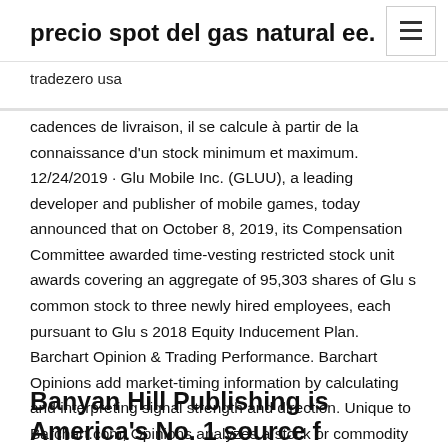precio spot del gas natural ee.
tradezero usa
cadences de livraison, il se calcule à partir de la connaissance d'un stock minimum et maximum. 12/24/2019 · Glu Mobile Inc. (GLUU), a leading developer and publisher of mobile games, today announced that on October 8, 2019, its Compensation Committee awarded time-vesting restricted stock unit awards covering an aggregate of 95,303 shares of Glu s common stock to three newly hired employees, each pursuant to Glu s 2018 Equity Inducement Plan. Barchart Opinion & Trading Performance. Barchart Opinions add market-timing information by calculating and interpreting signal strength and direction. Unique to Barchart.com, Opinions analyzes a stock or commodity using 13 popular analytics in short-, medium- and long-term periods. 11/1/1999 · Find the latest Earnings Report Date for Glu Mobile Inc. Common Stock (GLUU) at Nasdaq.com.
Banyan Hill Publishing is America's No. 1 source f...